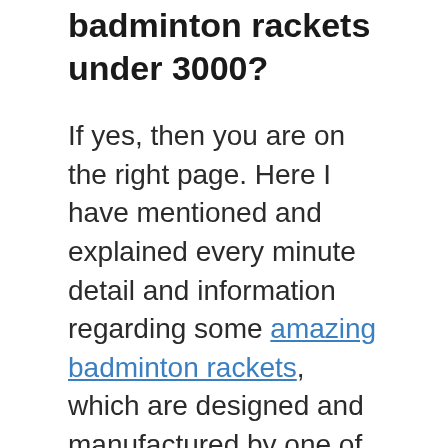badminton rackets under 3000?
If yes, then you are on the right page. Here I have mentioned and explained every minute detail and information regarding some amazing badminton rackets, which are designed and manufactured by one of the top badminton brands, Victor, which are easily available in the market and online stores.
Victor means success. The company is the best sports equipment manufacturer that provides quality products. The buyers need badminton rackets for their needs. Victor provides every kind and each type of customers needs. In this blog we provide some information and reviews related